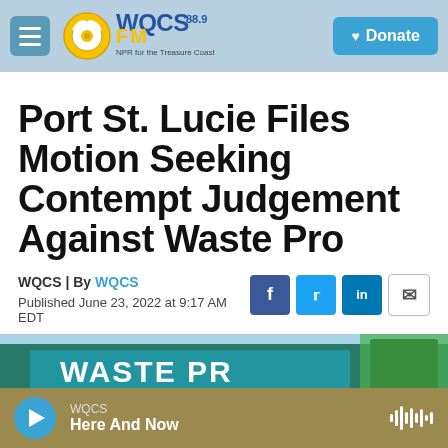WQCS 88.9 FM — NPR for the Treasure Coast | Donate
Port St. Lucie Files Motion Seeking Contempt Judgement Against Waste Pro
WQCS | By WQCS
Published June 23, 2022 at 9:17 AM EDT
[Figure (photo): Partial photo of a Waste Pro truck with teal/green bin visible]
WQCS — Here And Now (audio player bar)